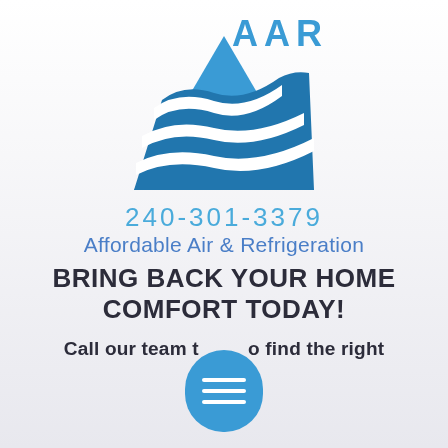[Figure (logo): AAR (Affordable Air & Refrigeration) logo — blue mountain/triangle shape with white wave lines and 'AAR' text in blue to the upper right]
240-301-3379
Affordable Air & Refrigeration
BRING BACK YOUR HOME COMFORT TODAY!
Call our team to find the right